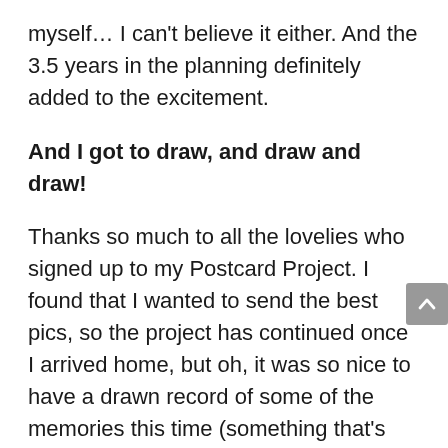myself… I can't believe it either. And the 3.5 years in the planning definitely added to the excitement.
And I got to draw, and draw and draw!
Thanks so much to all the lovelies who signed up to my Postcard Project. I found that I wanted to send the best pics, so the project has continued once I arrived home, but oh, it was so nice to have a drawn record of some of the memories this time (something that's hard when you're travelling